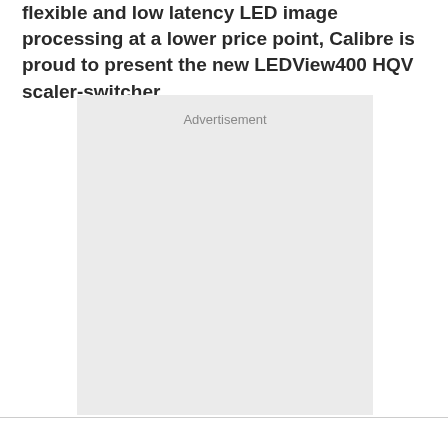flexible and low latency LED image processing at a lower price point, Calibre is proud to present the new LEDView400 HQV scaler-switcher.
[Figure (other): Advertisement placeholder box with light gray background and 'Advertisement' label centered near the top.]